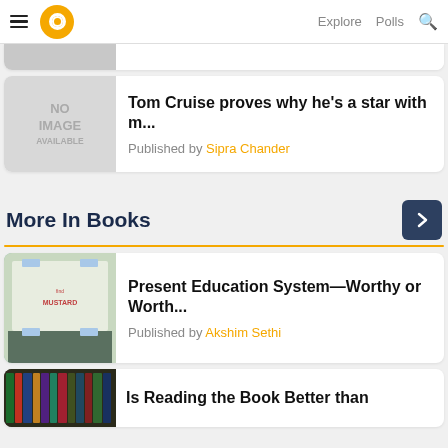Explore   Polls
[Figure (screenshot): Partially visible article card at top of page]
[Figure (screenshot): Article card with NO IMAGE AVAILABLE placeholder]
Tom Cruise proves why he's a star with m...
Published by Sipra Chander
More In Books
[Figure (photo): Photo of a hand-drawn poster or whiteboard sign]
Present Education System—Worthy or Worth...
Published by Akshim Sethi
[Figure (photo): Partial photo of books on a shelf]
Is Reading the Book Better than